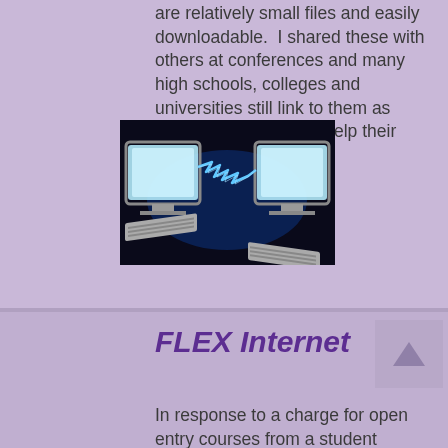are relatively small files and easily downloadable.  I shared these with others at conferences and many high schools, colleges and universities still link to them as resources to teach or help their students.
[Figure (illustration): Two computer monitors with keyboards facing each other with a lightning bolt / electrical arc connecting them against a dark background, suggesting internet or network connectivity.]
FLEX Internet
[Figure (illustration): A desktop computer with a monitor displaying 'Math Flex Internet Course' label, with a mouse and yellow mousepad.]
In response to a charge for open entry courses from a student success